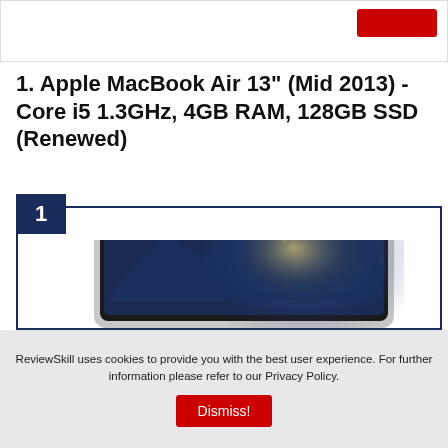[Figure (screenshot): Top navigation bar with a red button on the right side]
1. Apple MacBook Air 13" (Mid 2013) - Core i5 1.3GHz, 4GB RAM, 128GB SSD (Renewed)
[Figure (photo): Apple MacBook Air 13 inch laptop shown from the front with a galaxy/space desktop wallpaper displaying mountains and a bright light, inside a dark navy blue ranking card border with number 1 badge]
ReviewSkill uses cookies to provide you with the best user experience. For further information please refer to our Privacy Policy.
Dismiss!